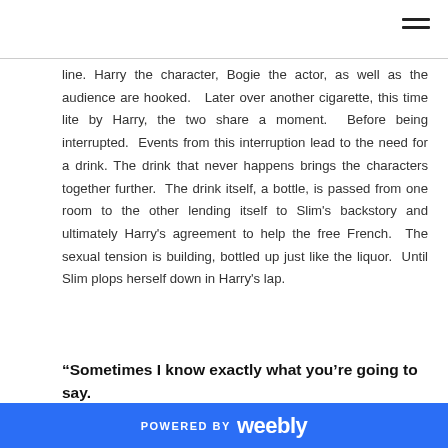line. Harry the character, Bogie the actor, as well as the audience are hooked.  Later over another cigarette, this time lite by Harry, the two share a moment.  Before being interrupted.  Events from this interruption lead to the need for a drink. The drink that never happens brings the characters together further.  The drink itself, a bottle, is passed from one room to the other lending itself to Slim's backstory and ultimately Harry's agreement to help the free French.  The sexual tension is building, bottled up just like the liquor.  Until Slim plops herself down in Harry's lap.
“Sometimes I know exactly what you’re going to say.
POWERED BY weebly